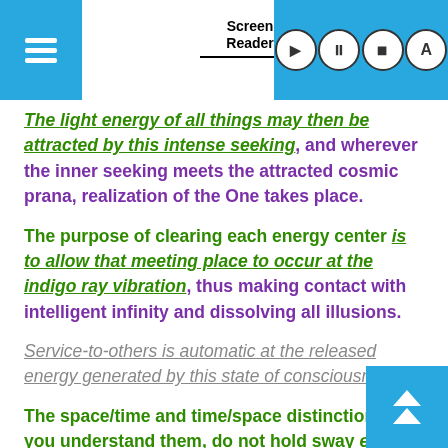[Figure (screenshot): Screen Reader app toolbar with hamburger menu, 'Screen Reader' label, signal strength icon, play/pause/stop/A control buttons on blue background]
The light energy of all things may then be attracted by this intense seeking, and wherever the inner seeking meets the attracted cosmic prana, realization of the One takes place.
The purpose of clearing each energy center is to allow that meeting place to occur at the indigo ray vibration, thus making contact with intelligent infinity and dissolving all illusions.
Service-to-others is automatic at the released energy generated by this state of consciousness.
The space/time and time/space distinctions, as you understand them, do not hold sway except in third-density.